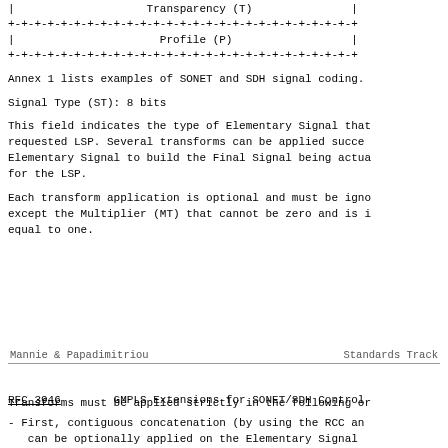| Transparency (T)
| Profile (P)
Annex 1 lists examples of SONET and SDH signal coding.
Signal Type (ST): 8 bits
This field indicates the type of Elementary Signal that is requested LSP. Several transforms can be applied successively on the Elementary Signal to build the Final Signal being actually transported for the LSP.
Each transform application is optional and must be ignored if zero, except the Multiplier (MT) that cannot be zero and is initialized equal to one.
Mannie & Papadimitriou    Standards Track
RFC 3946    GMPLS Extensions for SONET/SDH Control
Transforms must be applied strictly in the following order:
- First, contiguous concatenation (by using the RCC and can be optionally applied on the Elementary Signal